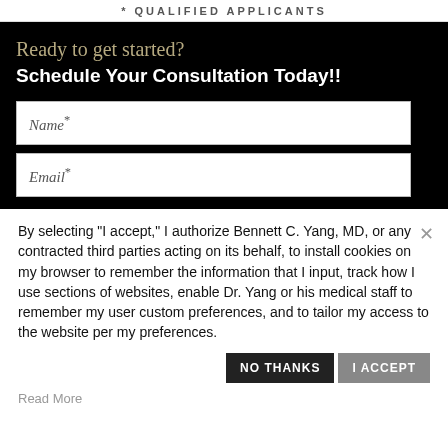*QUALIFIED APPLICANTS
Ready to get started?
Schedule Your Consultation Today!!
Name*
Email*
By selecting "I accept," I authorize Bennett C. Yang, MD, or any contracted third parties acting on its behalf, to install cookies on my browser to remember the information that I input, track how I use sections of websites, enable Dr. Yang or his medical staff to remember my user custom preferences, and to tailor my access to the website per my preferences.
NO THANKS
I ACCEPT
Read More